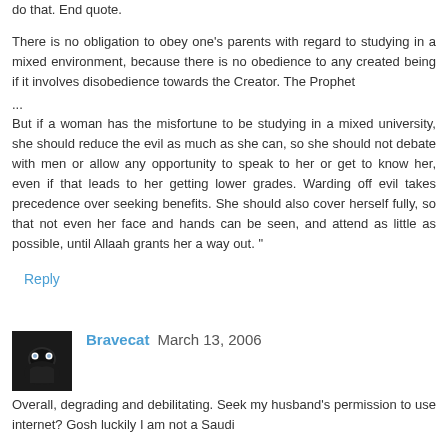do that. End quote.
There is no obligation to obey one's parents with regard to studying in a mixed environment, because there is no obedience to any created being if it involves disobedience towards the Creator. The Prophet
...
But if a woman has the misfortune to be studying in a mixed university, she should reduce the evil as much as she can, so she should not debate with men or allow any opportunity to speak to her or get to know her, even if that leads to her getting lower grades. Warding off evil takes precedence over seeking benefits. She should also cover herself fully, so that not even her face and hands can be seen, and attend as little as possible, until Allaah grants her a way out. "
Reply
Bravecat  March 13, 2006
Overall, degrading and debilitating. Seek my husband's permission to use internet? Gosh luckily I am not a Saudi